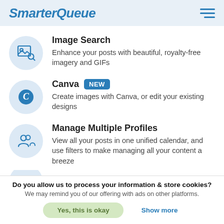SmarterQueue
Image Search — Enhance your posts with beautiful, royalty-free imagery and GIFs
Canva NEW — Create images with Canva, or edit your existing designs
Manage Multiple Profiles — View all your posts in one unified calendar, and use filters to make managing all your content a breeze
Bulk Import
Do you allow us to process your information & store cookies? We may remind you of our offering with ads on other platforms.
Yes, this is okay | Show more